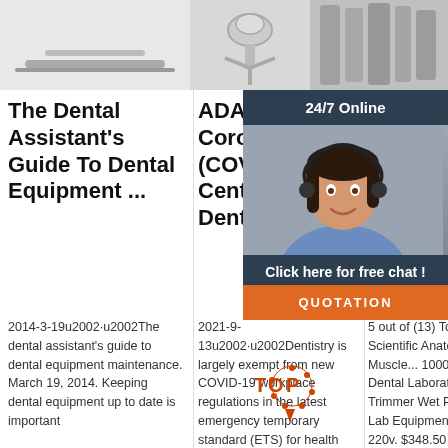[Figure (photo): Top strip showing three images: dental equipment/tools on left, dental microscope in center, and dental radiator/equipment on right]
The Dental Assistant's Guide To Dental Equipment ...
2014-3-19u2002·u2002The dental assistant's guide to dental equipment maintenance. March 19, 2014. Keeping dental equipment up to date is important
ADA Coronavirus (COVID-19) Center For Dentists
2021-9-13u2002·u2002Dentistry is largely exempt from new COVID-19 workplace regulations in the latest emergency temporary standard (ETS) for health care
Anatomical Models For Sale
5 out of (13) To 13, $12... 3B Scientific Anatomical Medical Muscle... 1000350... New. Dental Laboratory Model Trimmer Wet Plaster Abrasive Lab Equipment 07 dentQ 220v. $348.50 New.
[Figure (photo): Chat widget showing a female customer service agent with headset, dark header with '24/7 Online', 'Click here for free chat!' text and orange QUOTATION button]
[Figure (logo): TOP badge logo with orange dots circle and arrow design]